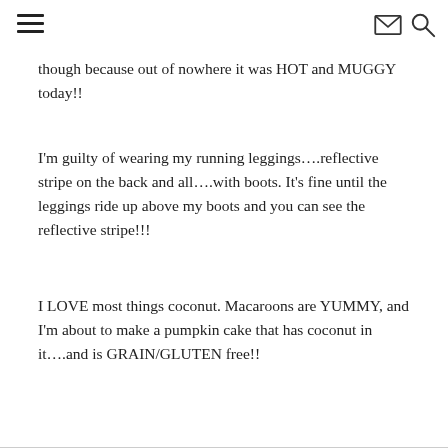[hamburger menu icon] [envelope icon] [search icon]
though because out of nowhere it was HOT and MUGGY today!!
I'm guilty of wearing my running leggings….reflective stripe on the back and all….with boots. It's fine until the leggings ride up above my boots and you can see the reflective stripe!!!
I LOVE most things coconut. Macaroons are YUMMY, and I'm about to make a pumpkin cake that has coconut in it….and is GRAIN/GLUTEN free!!